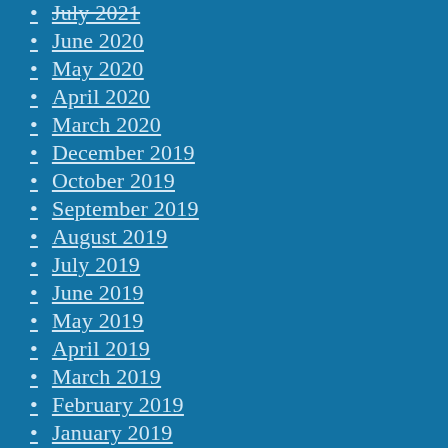July 2021
June 2020
May 2020
April 2020
March 2020
December 2019
October 2019
September 2019
August 2019
July 2019
June 2019
May 2019
April 2019
March 2019
February 2019
January 2019
December 2018